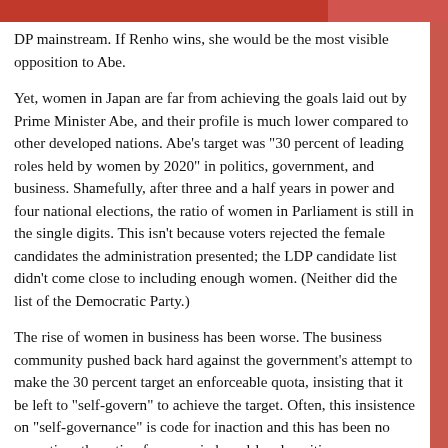DP mainstream. If Renho wins, she would be the most visible opposition to Abe.
Yet, women in Japan are far from achieving the goals laid out by Prime Minister Abe, and their profile is much lower compared to other developed nations. Abe’s target was “30 percent of leading roles held by women by 2020” in politics, government, and business. Shamefully, after three and a half years in power and four national elections, the ratio of women in Parliament is still in the single digits. This isn’t because voters rejected the female candidates the administration presented; the LDP candidate list didn’t come close to including enough women. (Neither did the list of the Democratic Party.)
The rise of women in business has been worse. The business community pushed back hard against the government’s attempt to make the 30 percent target an enforceable quota, insisting that it be left to “self-govern” to achieve the target. Often, this insistence on “self-governance” is code for inaction and this has been no exception: the ratio of women in board-level positions,